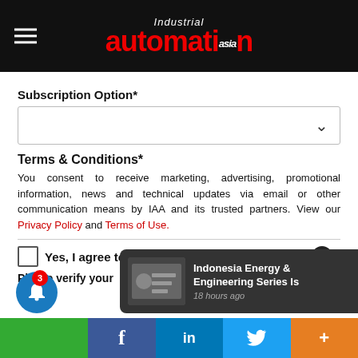[Figure (logo): Industrial Automation Asia logo with hamburger menu on black header bar]
Subscription Option*
Terms & Conditions*
You consent to receive marketing, advertising, promotional information, news and technical updates via email or other communication means by IAA and its trusted partners. View our Privacy Policy and Terms of Use.
Yes, I agree to the terms & conditions.
Please verify your
[Figure (screenshot): Notification popup showing 'Indonesia Energy & Engineering Series Is' with timestamp '18 hours ago' and thumbnail image]
[Figure (infographic): Bottom social sharing bar with Facebook, LinkedIn, Twitter, and more icons]